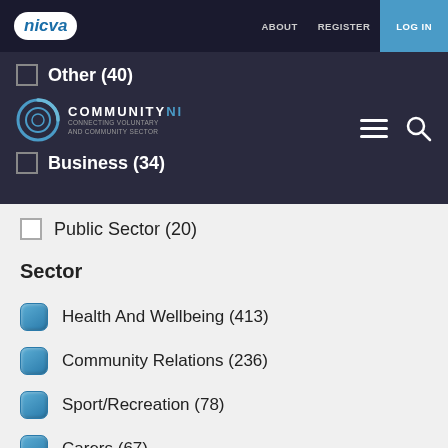nicva | ABOUT  REGISTER  LOG IN
Other (40)
[Figure (logo): CommunityNI logo — circular icon with text COMMUNITYNI and tagline]
Business (34)
Public Sector (20)
Sector
Health And Wellbeing (413)
Community Relations (236)
Sport/Recreation (78)
Carers (67)
Housing And Homelessness (59)
Race/Ethnicity (51)
Environment And Built Heritage (18)